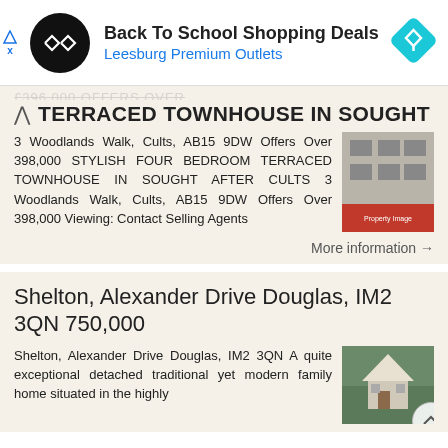[Figure (infographic): Advertisement banner: Back To School Shopping Deals at Leesburg Premium Outlets, with circular logo and map pin icon]
TERRACED TOWNHOUSE IN SOUGHT
3 Woodlands Walk, Cults, AB15 9DW Offers Over 398,000 STYLISH FOUR BEDROOM TERRACED TOWNHOUSE IN SOUGHT AFTER CULTS 3 Woodlands Walk, Cults, AB15 9DW Offers Over 398,000 Viewing: Contact Selling Agents
More information →
Shelton, Alexander Drive Douglas, IM2 3QN 750,000
Shelton, Alexander Drive Douglas, IM2 3QN A quite exceptional detached traditional yet modern family home situated in the highly